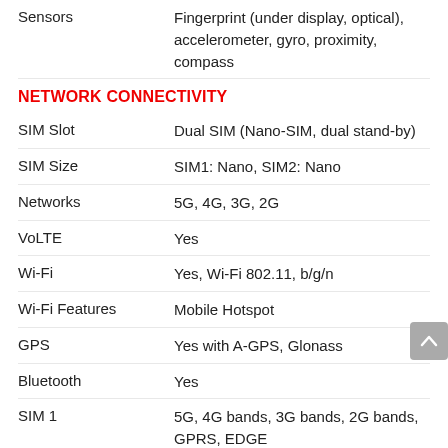| Property | Value |
| --- | --- |
| Card Slot | No |
| Sensors | Fingerprint (under display, optical), accelerometer, gyro, proximity, compass |
| NETWORK CONNECTIVITY |  |
| SIM Slot | Dual SIM (Nano-SIM, dual stand-by) |
| SIM Size | SIM1: Nano, SIM2: Nano |
| Networks | 5G, 4G, 3G, 2G |
| VoLTE | Yes |
| Wi-Fi | Yes, Wi-Fi 802.11, b/g/n |
| Wi-Fi Features | Mobile Hotspot |
| GPS | Yes with A-GPS, Glonass |
| Bluetooth | Yes |
| SIM 1 | 5G, 4G bands, 3G bands, 2G bands, GPRS, EDGE |
| SIM 2 | 5G, 4G bands, 3G bands, 2G bands, GPRS, EDGE |